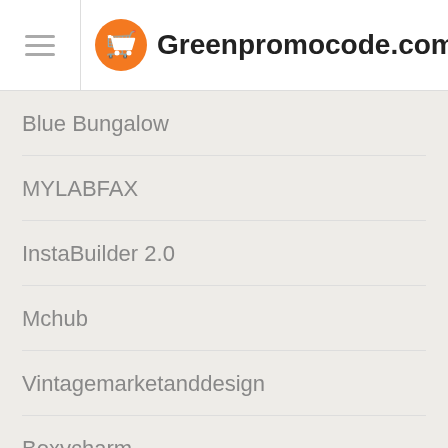Greenpromocode.com
Blue Bungalow
MYLABFAX
InstaBuilder 2.0
Mchub
Vintagemarketanddesign
Boxycharm
HOSTKEY